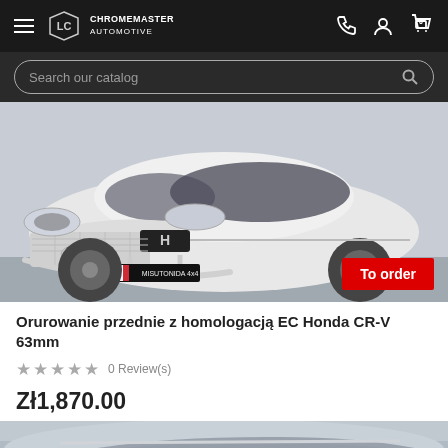CHROMEMASTER AUTOMOTIVE
Search our catalog
[Figure (photo): White Honda CR-V SUV with a front bull bar / nudge bar fitted, showing the Misutonida 4x4 branded plate. Red 'To order' badge in bottom right corner.]
Orurowanie przednie z homologacją EC Honda CR-V 63mm
★★★★★  0 Review(s)
Zł1,870.00
[Figure (photo): Partial view of a second car product image at the bottom of the page.]